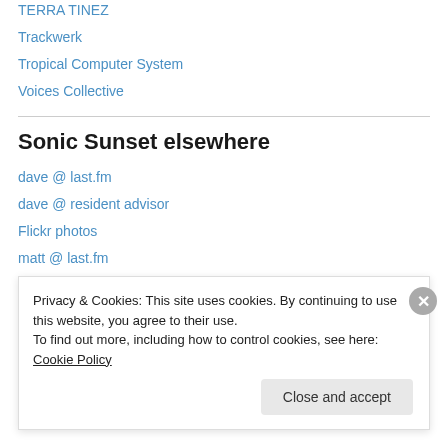TERRA TINEZ
Trackwerk
Tropical Computer System
Voices Collective
Sonic Sunset elsewhere
dave @ last.fm
dave @ resident advisor
Flickr photos
matt @ last.fm
Moodmat
Privacy & Cookies: This site uses cookies. By continuing to use this website, you agree to their use.
To find out more, including how to control cookies, see here: Cookie Policy